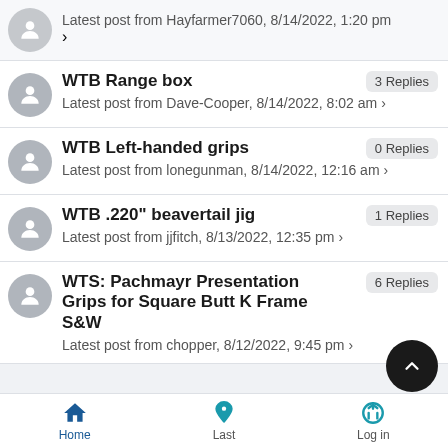Latest post from Hayfarmer7060, 8/14/2022, 1:20 pm
WTB Range box — 3 Replies — Latest post from Dave-Cooper, 8/14/2022, 8:02 am
WTB Left-handed grips — 0 Replies — Latest post from lonegunman, 8/14/2022, 12:16 am
WTB .220" beavertail jig — 1 Replies — Latest post from jjfitch, 8/13/2022, 12:35 pm
WTS: Pachmayr Presentation Grips for Square Butt K Frame S&W — 6 Replies — Latest post from chopper, 8/12/2022, 9:45 pm
Home  Last  Log in